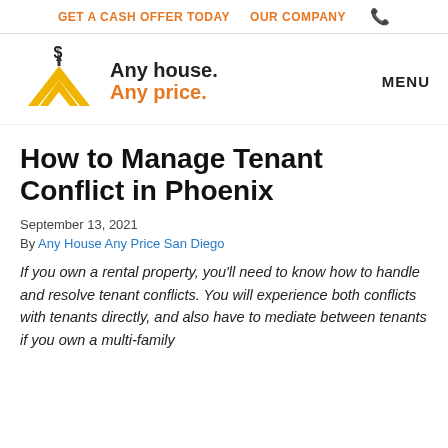GET A CASH OFFER TODAY   OUR COMPANY
[Figure (logo): Any House Any Price logo with gold chevron/house icon and dollar sign, text 'Any house. Any price.']
How to Manage Tenant Conflict in Phoenix
September 13, 2021
By Any House Any Price San Diego
If you own a rental property, you'll need to know how to handle and resolve tenant conflicts. You will experience both conflicts with tenants directly, and also have to mediate between tenants if you own a multi-family